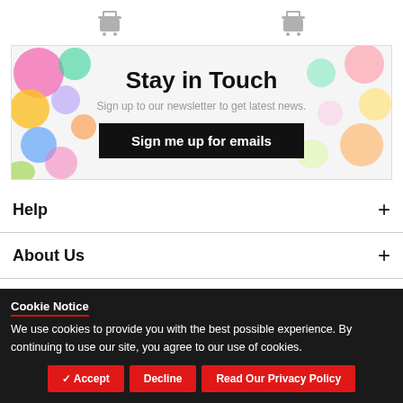[Figure (screenshot): Two shopping cart icons in gray at top of page]
[Figure (infographic): Newsletter signup banner with colorful craft items. Title: Stay in Touch. Subtitle: Sign up to our newsletter to get latest news. Button: Sign me up for emails]
Help
About Us
Sales & Promotions
Cookie Notice
We use cookies to provide you with the best possible experience. By continuing to use our site, you agree to our use of cookies.
Accept | Decline | Read Our Privacy Policy